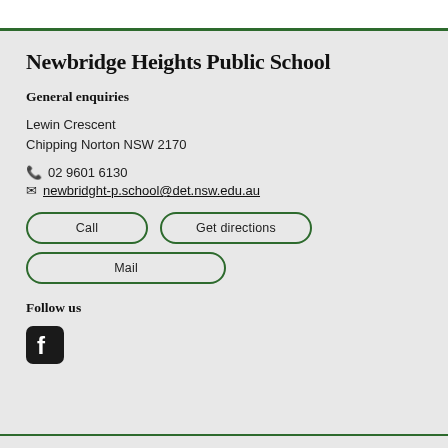Newbridge Heights Public School
General enquiries
Lewin Crescent
Chipping Norton NSW 2170
02 9601 6130
newbridght-p.school@det.nsw.edu.au
Call | Get directions
Mail
Follow us
[Figure (logo): Facebook icon - dark rounded square with white F logo]